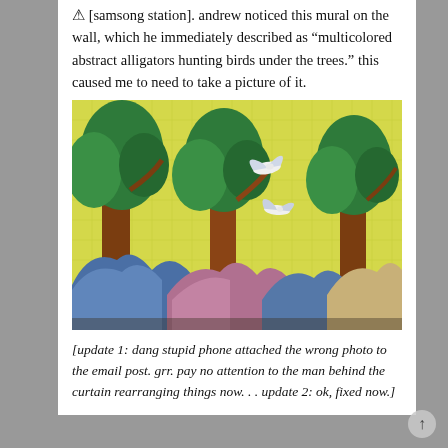[samsong station]. andrew noticed this mural on the wall, which he immediately described as "multicolored abstract alligators hunting birds under the trees." this caused me to need to take a picture of it.
[Figure (photo): Photo of a colorful tile mural on a subway station wall. The mural depicts tall brown trees with green foliage, white birds in flight, and blue/pink stylized mountains at the base, on a yellow background.]
[update 1: dang stupid phone attached the wrong photo to the email post. grr. pay no attention to the man behind the curtain rearranging things now. . . update 2: ok, fixed now.]